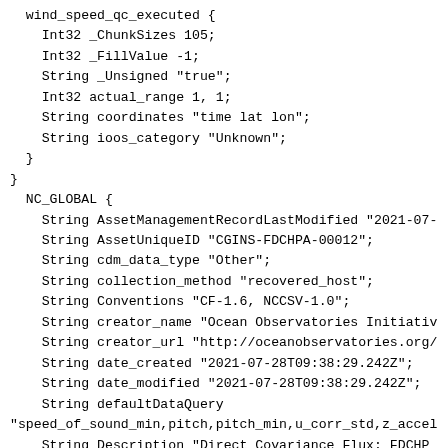wind_speed_qc_executed {
    Int32 _ChunkSizes 105;
    Int32 _FillValue -1;
    String _Unsigned "true";
    Int32 actual_range 1, 1;
    String coordinates "time lat lon";
    String ioos_category "Unknown";
  }
}
  NC_GLOBAL {
    String AssetManagementRecordLastModified "2021-07-
    String AssetUniqueID "CGINS-FDCHPA-00012";
    String cdm_data_type "Other";
    String collection_method "recovered_host";
    String Conventions "CF-1.6, NCCSV-1.0";
    String creator_name "Ocean Observatories Initiativ
    String creator_url "http://oceanobservatories.org/
    String date_created "2021-07-28T09:38:29.242Z";
    String date_modified "2021-07-28T09:38:29.242Z";
    String defaultDataQuery
"speed_of_sound_min,pitch,pitch_min,u_corr_std,z_accel
    String Description "Direct Covariance Flux: FDCHP
    String feature_Type "point";
    String FirmwareVersion "Not specified.";
    Float64 geospatial_lat_resolution 0.1;